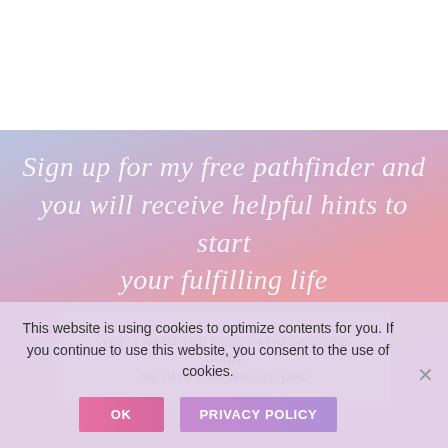[Figure (illustration): Pastel gradient background (blue-lavender to pink-rose) with white script/cursive text overlay reading 'Sign up for my free pathfinder and you will receive helpful hints to start your fulfilling life']
Sign up for my free pathfinder and you will receive helpful hints to start your fulfilling life
YES, I WANT THE FREE PATHFINDER TO GUIDE ME INTO A FULFILLED LIFE
This website is using cookies to optimize contents for you. If you continue to use this website, you consent to the use of cookies.
OK
PRIVACY POLICY